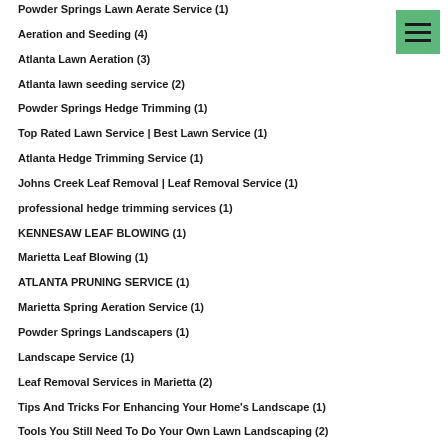Powder Springs Lawn Aerate Service (1)
Aeration and Seeding (4)
Atlanta Lawn Aeration (3)
Atlanta lawn seeding service (2)
Powder Springs Hedge Trimming (1)
Top Rated Lawn Service | Best Lawn Service (1)
Atlanta Hedge Trimming Service (1)
Johns Creek Leaf Removal | Leaf Removal Service (1)
professional hedge trimming services (1)
KENNESAW LEAF BLOWING (1)
Marietta Leaf Blowing (1)
ATLANTA PRUNING SERVICE (1)
Marietta Spring Aeration Service (1)
Powder Springs Landscapers (1)
Landscape Service (1)
Leaf Removal Services in Marietta (2)
Tips And Tricks For Enhancing Your Home's Landscape (1)
Tools You Still Need To Do Your Own Lawn Landscaping (2)